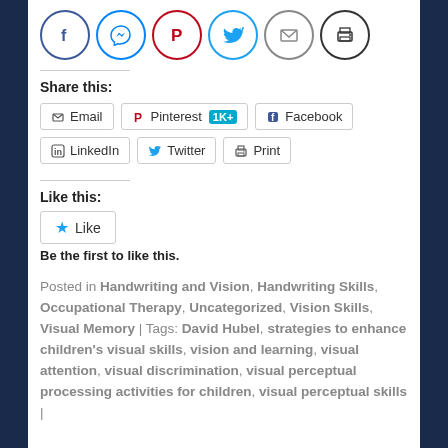[Figure (other): Row of 6 social media icon circles: Facebook (blue), Messenger (blue), Pinterest (red), Twitter (light blue), Email (gray), Print (dark)]
Share this:
[Figure (other): Share buttons: Email, Pinterest 1K+, Facebook, LinkedIn, Twitter, Print]
Like this:
[Figure (other): Like button with star icon]
Be the first to like this.
Posted in Handwriting and Vision, Handwriting Skills, Occupational Therapy, Uncategorized, Vision Skills, Visual Memory | Tags: David Hubel, strategies to enhance children's visual skills, vision and learning, visual attention, visual discrimination, visual perceptual processing activities for children, visual perceptual skills |